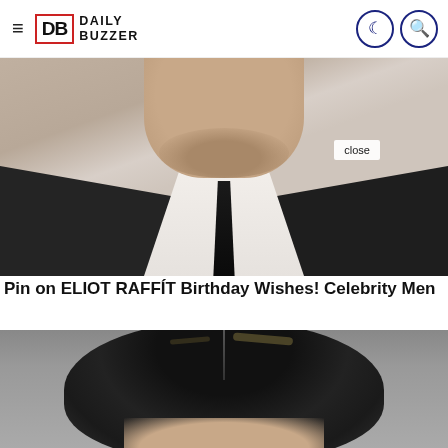DB DAILY BUZZER
[Figure (photo): Close-up photo of a man in a dark suit and black tie with white shirt, chin and neck visible, with a 'close' button overlay]
Pin on ELIOT RAFFÍT Birthday Wishes! Celebrity Men
[Figure (photo): Close-up photo of a woman with dark hair pulled back, top of head visible]